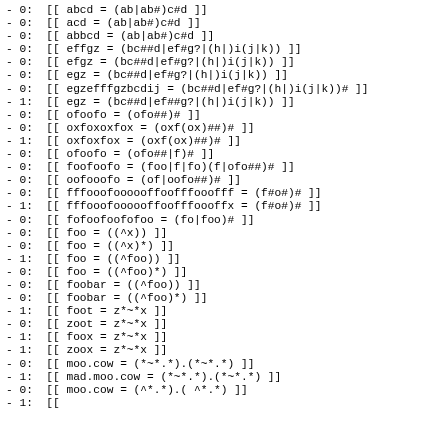- 0:  [[ abcd = (ab|ab#)c#d ]]
- 0:  [[ acd = (ab|ab#)c#d ]]
- 0:  [[ abbcd = (ab|ab#)c#d ]]
- 0:  [[ effgz = (bc##d|ef#g?|(h|)i(j|k)) ]]
- 0:  [[ efgz = (bc##d|ef#g?|(h|)i(j|k)) ]]
- 0:  [[ egz = (bc##d|ef#g?|(h|)i(j|k)) ]]
- 0:  [[ egzefffgzbcdij = (bc##d|ef#g?|(h|)i(j|k))# ]]
- 1:  [[ egz = (bc##d|ef##g?|(h|)i(j|k)) ]]
- 0:  [[ ofoofo = (ofo##)# ]]
- 0:  [[ oxfoxoxfox = (oxf(ox)##)# ]]
- 1:  [[ oxfoxfox = (oxf(ox)##)# ]]
- 0:  [[ ofoofo = (ofo##|f)# ]]
- 0:  [[ foofoofo = (foo|f|fo)(f|ofo##)# ]]
- 0:  [[ oofooofo = (of|oofo##)# ]]
- 0:  [[ fffooofoooooffoofffooofff = (f#o#)# ]]
- 1:  [[ fffooofoooooffoofffoooffx = (f#o#)# ]]
- 0:  [[ fofoofoofofoo = (fo|foo)# ]]
- 0:  [[ foo = ((^x)) ]]
- 0:  [[ foo = ((^x)*) ]]
- 1:  [[ foo = ((^foo)) ]]
- 0:  [[ foo = ((^foo)*) ]]
- 0:  [[ foobar = ((^foo)) ]]
- 0:  [[ foobar = ((^foo)*) ]]
- 1:  [[ foot = z*~*x ]]
- 0:  [[ zoot = z*~*x ]]
- 1:  [[ foox = z*~*x ]]
- 1:  [[ zoox = z*~*x ]]
- 0:  [[ moo.cow = (*~*.*).(*~*.*) ]]
- 1:  [[ mad.moo.cow = (*~*.*).(*~*.*) ]]
- 0:  [[ moo.cow = (^*.*).( ^*.*) ]]
- 1:  [[ ...